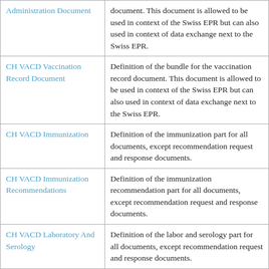| Name | Description |
| --- | --- |
| Administration Document | document. This document is allowed to be used in context of the Swiss EPR but can also used in context of data exchange next to the Swiss EPR. |
| CH VACD Vaccination Record Document | Definition of the bundle for the vaccination record document. This document is allowed to be used in context of the Swiss EPR but can also used in context of data exchange next to the Swiss EPR. |
| CH VACD Immunization | Definition of the immunization part for all documents, except recommendation request and response documents. |
| CH VACD Immunization Recommendations | Definition of the immunization recommendation part for all documents, except recommendation request and response documents. |
| CH VACD Laboratory And Serology | Definition of the labor and serology part for all documents, except recommendation request and response documents. |
| CH VACD Medical Problems | Definition of the medical problems part for all documents, except |